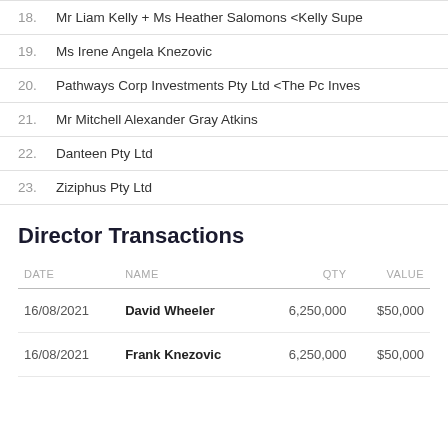18. Mr Liam Kelly + Ms Heather Salomons <Kelly Supe
19. Ms Irene Angela Knezovic
20. Pathways Corp Investments Pty Ltd <The Pc Inves
21. Mr Mitchell Alexander Gray Atkins
22. Danteen Pty Ltd
23. Ziziphus Pty Ltd
Director Transactions
| DATE | NAME | QTY | VALUE |
| --- | --- | --- | --- |
| 16/08/2021 | David Wheeler | 6,250,000 | $50,000 |
| 16/08/2021 | Frank Knezovic | 6,250,000 | $50,000 |